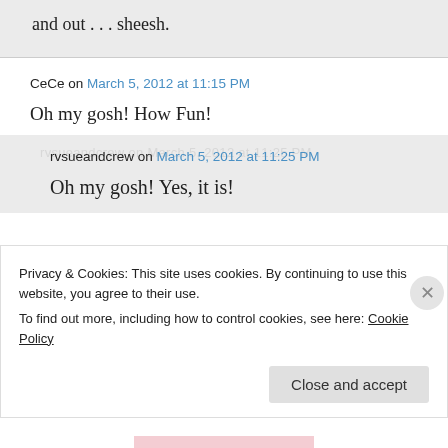and out . . . sheesh.
CeCe on March 5, 2012 at 11:15 PM
Oh my gosh! How Fun!
rvsueandcrew on March 5, 2012 at 11:25 PM
Oh my gosh! Yes, it is!
Privacy & Cookies: This site uses cookies. By continuing to use this website, you agree to their use.
To find out more, including how to control cookies, see here: Cookie Policy
Close and accept